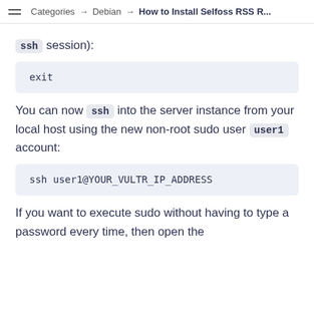Categories → Debian → How to Install Selfoss RSS R...
ssh session):
exit
You can now ssh into the server instance from your local host using the new non-root sudo user user1 account:
ssh user1@YOUR_VULTR_IP_ADDRESS
If you want to execute sudo without having to type a password every time, then open the